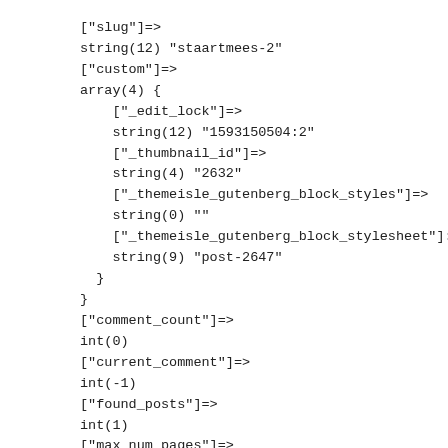["slug"]=>
string(12) "staartmees-2"
["custom"]=>
array(4) {
    ["_edit_lock"]=>
    string(12) "1593150504:2"
    ["_thumbnail_id"]=>
    string(4) "2632"
    ["_themeisle_gutenberg_block_styles"]=>
    string(0) ""
    ["_themeisle_gutenberg_block_stylesheet"]:=>
    string(9) "post-2647"
}
}
["comment_count"]=>
int(0)
["current_comment"]=>
int(-1)
["found_posts"]=>
int(1)
["max_num_pages"]=>